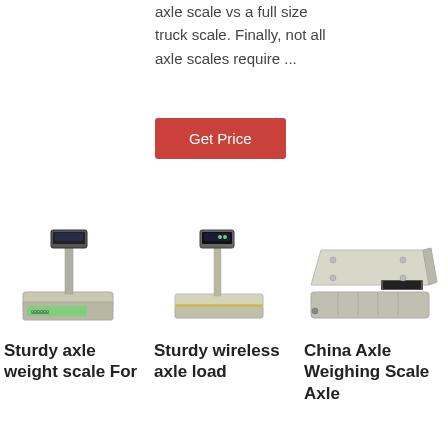axle scale vs a full size truck scale. Finally, not all axle scales require ...
Get Price
[Figure (photo): Photo of a digital weighing scale with display pole and platform with green display, silver body]
[Figure (photo): Photo of a digital wireless axle load scale with display pole and platform]
[Figure (photo): Photo of a China axle weighing scale with drawer-style cash tray base and flat top platform]
Sturdy axle weight scale For
Sturdy wireless axle load
China Axle Weighing Scale Axle